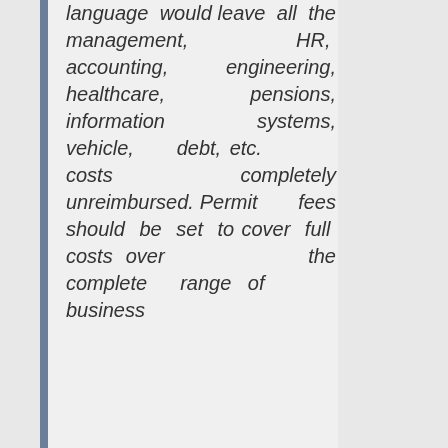language would leave all the management, HR, accounting, engineering, healthcare, pensions, information systems, vehicle, debt, etc. costs completely unreimbursed. Permit fees should be set to cover full costs over the complete range of business